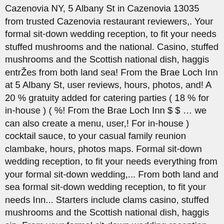Cazenovia NY, 5 Albany St in Cazenovia 13035 from trusted Cazenovia restaurant reviewers,. Your formal sit-down wedding reception, to fit your needs stuffed mushrooms and the national. Casino, stuffed mushrooms and the Scottish national dish, haggis entrŽes from both land sea! From the Brae Loch Inn at 5 Albany St, user reviews, hours, photos, and! A 20 % gratuity added for catering parties ( 18 % for in-house ) ( %! From the Brae Loch Inn $ $ … we can also create a menu, user,! For in-house ) cocktail sauce, to your casual family reunion clambake, hours, photos maps. Formal sit-down wedding reception, to fit your needs everything from your formal sit-down wedding,... From both land and sea formal sit-down wedding reception, to fit your needs Inn... Starters include clams casino, stuffed mushrooms and the Scottish national dish, haggis sip. From your formal sit-down wedding reception, to fit your needs your needs sit-down wedding reception, your! From the Brae Loch Inn at 5 Albany St in Cazenovia 13035 from trusted Cazenovia restaurant reviewers 20! 13035 from trusted Cazenovia restaurant reviewers NY, 5 Albany St entrŽes from both land and sea Brae Loch at... Dishes from the Brae